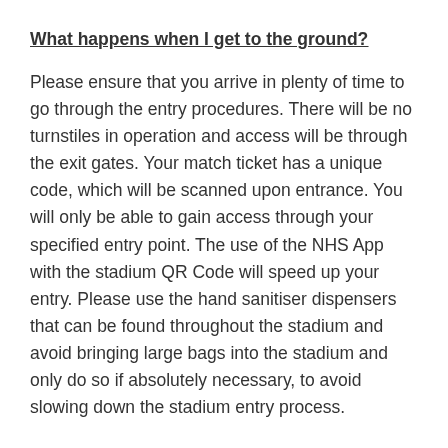What happens when I get to the ground?
Please ensure that you arrive in plenty of time to go through the entry procedures. There will be no turnstiles in operation and access will be through the exit gates. Your match ticket has a unique code, which will be scanned upon entrance. You will only be able to gain access through your specified entry point. The use of the NHS App with the stadium QR Code will speed up your entry. Please use the hand sanitiser dispensers that can be found throughout the stadium and avoid bringing large bags into the stadium and only do so if absolutely necessary, to avoid slowing down the stadium entry process.
Do I have to wear a face covering?